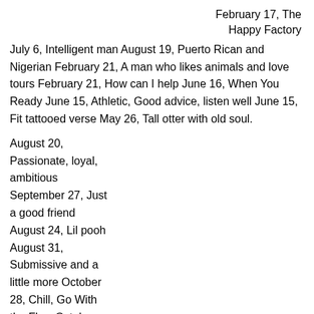February 17, The Happy Factory
July 6, Intelligent man August 19, Puerto Rican and Nigerian February 21, A man who likes animals and love tours February 21, How can I help June 16, When You Ready June 15, Athletic, Good advice, listen well June 15, Fit tattooed verse May 26, Tall otter with old soul.
August 20, Passionate, loyal, ambitious September 27, Just a good friend August 24, Lil pooh August 31, Submissive and a little more October 28, Chill, Go With the Flow October